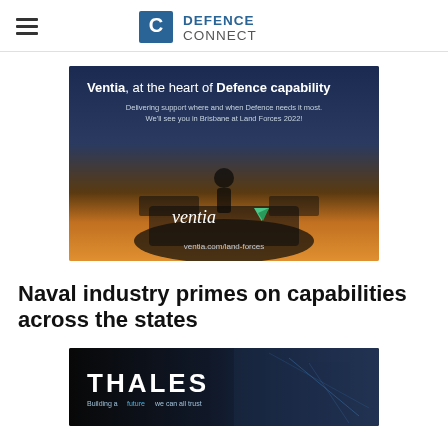Defence Connect
[Figure (photo): Ventia advertisement banner. Dark background with silhouette of military vehicle and soldier. Text reads: 'Ventia, at the heart of Defence capability. Delivering support where and when Defence needs it most. We'll see you in Brisbane at Land Forces 2022! ventia.com/land-forces']
Naval industry primes on capabilities across the states
[Figure (photo): Thales advertisement banner. Dark background with soldier. White THALES logo with tagline: 'Building a future we can all trust']